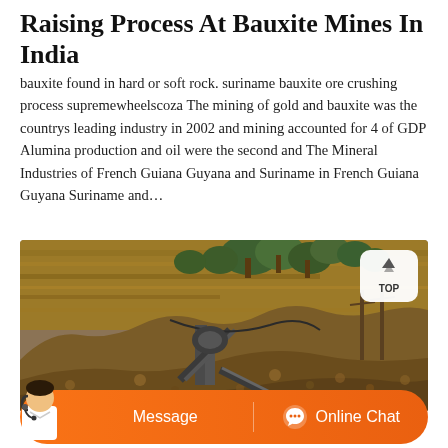Raising Process At Bauxite Mines In India
bauxite found in hard or soft rock. suriname bauxite ore crushing process supremewheelscoza The mining of gold and bauxite was the countrys leading industry in 2002 and mining accounted for 4 of GDP Alumina production and oil were the second and The Mineral Industries of French Guiana Guyana and Suriname in French Guiana Guyana Suriname and…
[Figure (photo): Photograph of a bauxite mine showing large piles of crushed rock/ore in the foreground, industrial conveyor/crushing equipment in the middle ground, and a steep earthen cliff face with trees at the top in the background.]